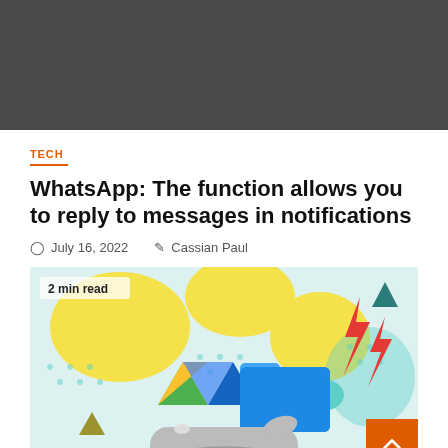[Figure (photo): Dark gray banner image at top of page]
TECH
WhatsApp: The function allows you to reply to messages in notifications
July 16, 2022  Cassian Paul
[Figure (illustration): Colorful illustration showing a hand holding up Google Drive icon, a blue folder icon, a teal cloud, and red lightning bolts against a yellow and teal dotted background. Text overlay: '2 min read']